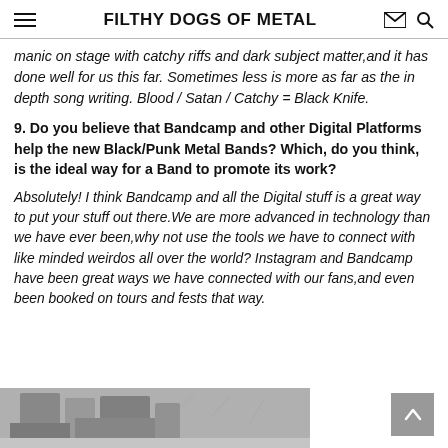FILTHY DOGS OF METAL
manic on stage with catchy riffs and dark subject matter,and it has done well for us this far. Sometimes less is more as far as the in depth song writing. Blood / Satan / Catchy = Black Knife.
9. Do you believe that Bandcamp and other Digital Platforms help the new Black/Punk Metal Bands? Which, do you think, is the ideal way for a Band to promote its work?
Absolutely! I think Bandcamp and all the Digital stuff is a great way to put your stuff out there.We are more advanced in technology than we have ever been,why not use the tools we have to connect with like minded weirdos all over the world? Instagram and Bandcamp have been great ways we have connected with our fans,and even been booked on tours and fests that way.
[Figure (photo): Partial view of an outdoor building/industrial structure, partially cropped at bottom of page]